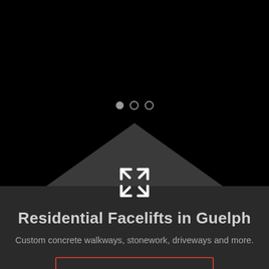[Figure (screenshot): Black upper section with three slider indicator dots (one filled, two outlined) centered in the black area, followed by a dark upward-pointing triangle chevron shape with a four-arrows expand icon in white]
Residential Facelifts in Guelph
Custom concrete walkways, stonework, driveways and more.